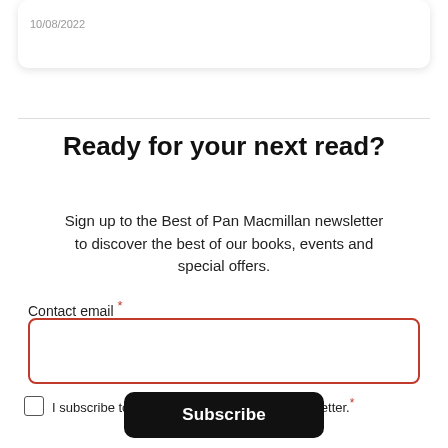10/08/2022
Ready for your next read?
Sign up to the Best of Pan Macmillan newsletter to discover the best of our books, events and special offers.
Contact email *
I subscribe to the Best of Pan Macmillan newsletter.*
Subscribe